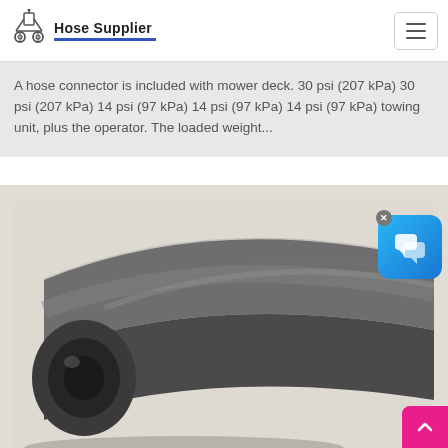Hose Supplier
A hose connector is included with mower deck. 30 psi (207 kPa) 30 psi (207 kPa) 14 psi (97 kPa) 14 psi (97 kPa) 14 psi (97 kPa) towing unit, plus the operator. The loaded weight...
[Figure (photo): Close-up photograph of a dark grey rubber hose viewed from the end, showing the circular opening, on a light beige background.]